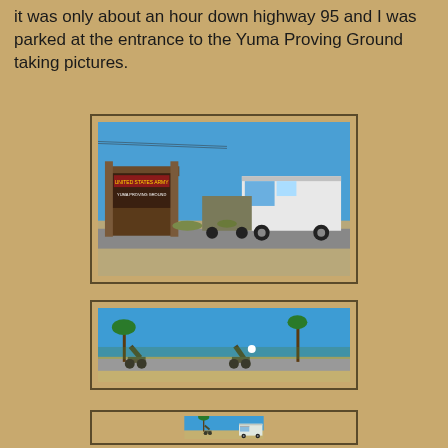it was only about an hour down highway 95 and I was parked at the entrance to the Yuma Proving Ground taking pictures.
[Figure (photo): Photo of the Yuma Proving Ground entrance sign with a large RV motorhome passing by on the road, desert landscape and blue sky in background.]
[Figure (photo): Wide panoramic photo of the Yuma Proving Ground roadside with military artillery/cannon displays, palm trees, desert terrain and blue sky.]
[Figure (photo): Photo showing military artillery/cannon display with a palm tree and a white RV/motorhome visible on the right side, blue sky background.]